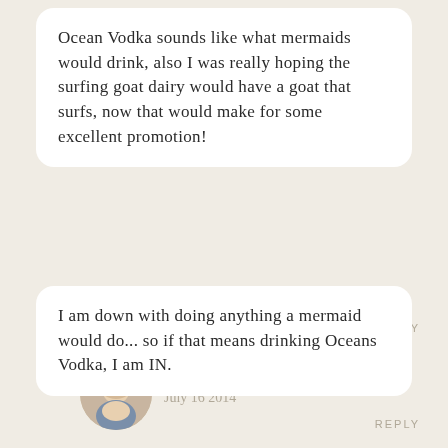Ocean Vodka sounds like what mermaids would drink, also I was really hoping the surfing goat dairy would have a goat that surfs, now that would make for some excellent promotion!
REPLY
Alex
July 16 2014
[Figure (photo): Circular avatar photo of a blonde woman named Alex]
I am down with doing anything a mermaid would do... so if that means drinking Oceans Vodka, I am IN.
REPLY